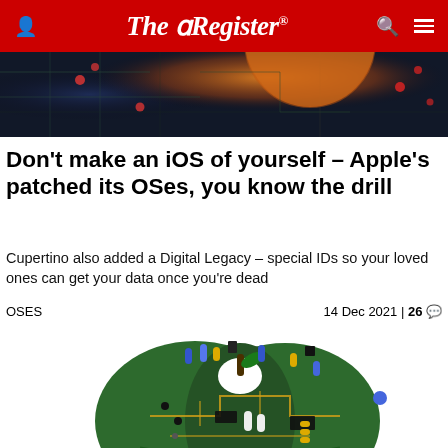The Register
[Figure (photo): Hero banner image showing circuit board with colorful glowing elements against dark background with orange/amber light]
Don't make an iOS of yourself – Apple's patched its OSes, you know the drill
Cupertino also added a Digital Legacy – special IDs so your loved ones can get your data once you're dead
OSES    14 Dec 2021 | 26
[Figure (photo): Apple-shaped object made from green circuit board with electronic components, capacitors, chips, blue and yellow capacitors protruding from top]